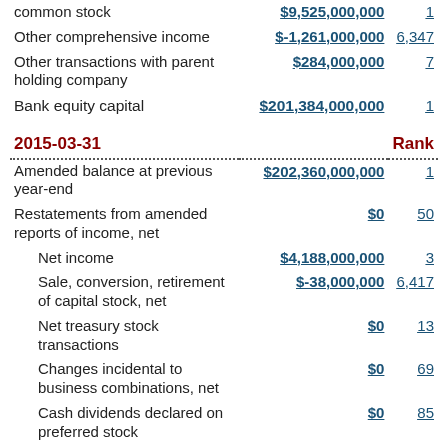| Description | Amount | Rank |
| --- | --- | --- |
| common stock | $9,525,000,000 | 1 |
| Other comprehensive income | $-1,261,000,000 | 6,347 |
| Other transactions with parent holding company | $284,000,000 | 7 |
| Bank equity capital | $201,384,000,000 | 1 |
| 2015-03-31 |  | Rank |
| Amended balance at previous year-end | $202,360,000,000 | 1 |
| Restatements from amended reports of income, net | $0 | 50 |
| Net income | $4,188,000,000 | 3 |
| Sale, conversion, retirement of capital stock, net | $-38,000,000 | 6,417 |
| Net treasury stock transactions | $0 | 13 |
| Changes incidental to business combinations, net | $0 | 69 |
| Cash dividends declared on preferred stock | $0 | 85 |
| Cash dividends declared on common stock | $4,400,000,000 | 2 |
| Other comprehensive income | $1,266,000,000 | 1 |